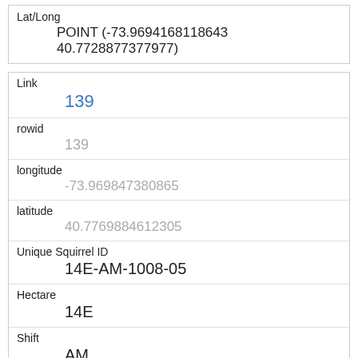| Lat/Long |
| --- |
| POINT (-73.9694168118643 40.7728877377977) |
| Link | rowid | longitude | latitude | Unique Squirrel ID | Hectare | Shift | Date | Hectare Squirrel Number |
| --- | --- | --- | --- | --- | --- | --- | --- | --- |
| 139 |
| 139 |
| -73.969847380865 |
| 40.7769884612305 |
| 14E-AM-1008-05 |
| 14E |
| AM |
| 10082018 |
| 5 |